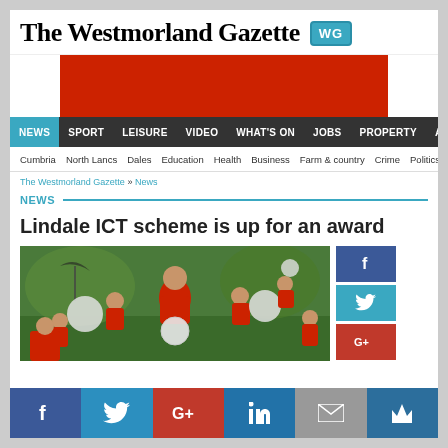The Westmorland Gazette WG
[Figure (other): Red advertisement banner]
NEWS | SPORT | LEISURE | VIDEO | WHAT'S ON | JOBS | PROPERTY | ANNOUNCEMENTS
Cumbria | North Lancs | Dales | Education | Health | Business | Farm & country | Crime | Politics | National | We
The Westmorland Gazette » News
NEWS
Lindale ICT scheme is up for an award
[Figure (photo): Group of children and a woman in red clothes holding white balloons outdoors on grass]
f  Twitter  G+  in  email  crown